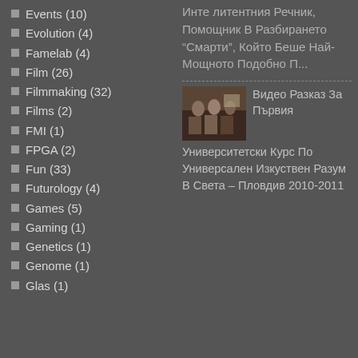Events (10)
Evolution (4)
Famelab (4)
Film (26)
Filmmaking (32)
Films (2)
FMI (1)
FPGA (2)
Fun (33)
Futurology (4)
Games (5)
Gaming (1)
Genetics (1)
Genome (1)
Glas (1)
Инте литентния Речник, Помощник В Разбирането "Смарти", Който Беше Най-Мощното Подобно П...
[Figure (photo): Thumbnail photo of people in a room]
Видео Разказ За Първия Университетски Курс По Универсален Изкуствен Разум В Света – Пловдив 2010-2011